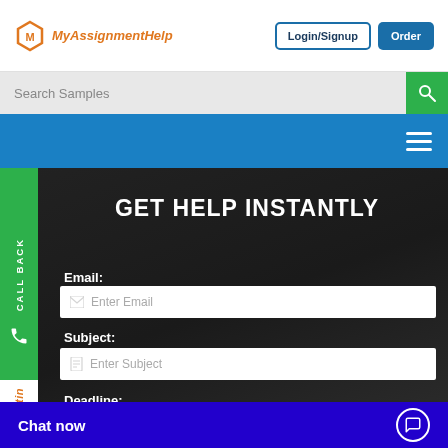[Figure (screenshot): MyAssignmentHelp logo with orange hexagon icon and italic orange text]
Login/Signup
Order
Search Samples
CALL BACK
GET HELP INSTANTLY
Email:
Enter Email
Subject:
Enter Subject
Deadline:
Select Date
Chat now